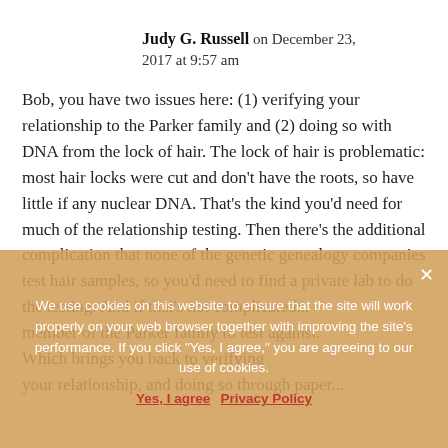Judy G. Russell on December 23, 2017 at 9:57 am
Bob, you have two issues here: (1) verifying your relationship to the Parker family and (2) doing so with DNA from the lock of hair. The lock of hair is problematic: most hair locks were cut and don't have the roots, so have little if any nuclear DNA. That's the kind you'd need for much of the relationship testing. Then there's the additional complication that none of the genetic genealogy companies test hair samples, so you'd need to find a private lab to do the testing. And if that's not complicated... member of the Parker family to test against. Which brings you back to verifying your relationship, and doing so through paper...
We use cookies on this website to ensure that the site will work properly on your web browser together with improving the site's performance. If you click "Yes, I agree," you are agreeing to our use of cookies.